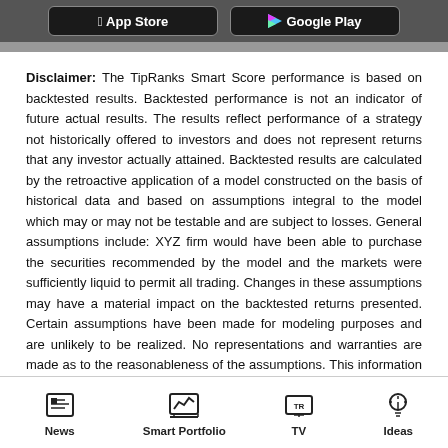[Figure (screenshot): Top dark bar with App Store and Google Play store buttons]
Disclaimer: The TipRanks Smart Score performance is based on backtested results. Backtested performance is not an indicator of future actual results. The results reflect performance of a strategy not historically offered to investors and does not represent returns that any investor actually attained. Backtested results are calculated by the retroactive application of a model constructed on the basis of historical data and based on assumptions integral to the model which may or may not be testable and are subject to losses. General assumptions include: XYZ firm would have been able to purchase the securities recommended by the model and the markets were sufficiently liquid to permit all trading. Changes in these assumptions may have a material impact on the backtested returns presented. Certain assumptions have been made for modeling purposes and are unlikely to be realized. No representations and warranties are made as to the reasonableness of the assumptions. This information is provided for illustrative purposes only. Backtested performance is
[Figure (screenshot): Bottom navigation bar with News, Smart Portfolio, TV, and Ideas icons]